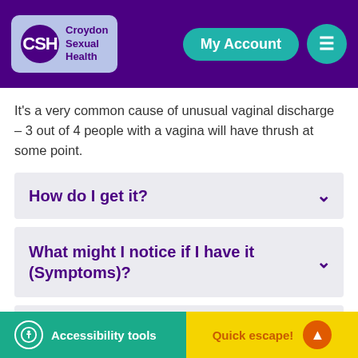Croydon Sexual Health — My Account
It's a very common cause of unusual vaginal discharge – 3 out of 4 people with a vagina will have thrush at some point.
How do I get it?
What might I notice if I have it (Symptoms)?
How do I get tested?
Accessibility tools    Quick escape!